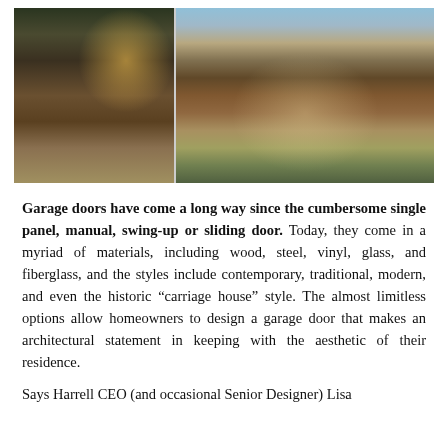[Figure (photo): Two side-by-side outdoor home photos: left shows a garage with a wooden door and red scooter in the driveway at dusk; right shows a pergola/patio area with wooden structure, outdoor dining furniture, and lush greenery.]
Garage doors have come a long way since the cumbersome single panel, manual, swing-up or sliding door. Today, they come in a myriad of materials, including wood, steel, vinyl, glass, and fiberglass, and the styles include contemporary, traditional, modern, and even the historic “carriage house” style. The almost limitless options allow homeowners to design a garage door that makes an architectural statement in keeping with the aesthetic of their residence.
Says Harrell CEO (and occasional Senior Designer) Lisa